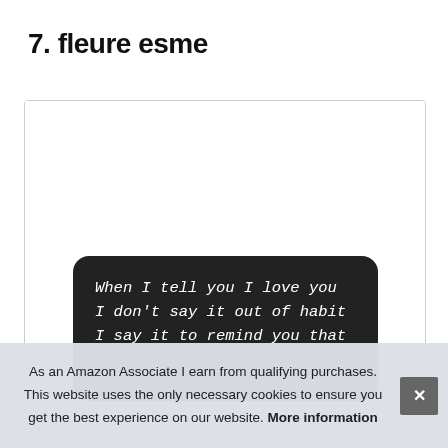7. fleure esme
[Figure (photo): A black rounded-rectangle card with white handwritten-style text reading: 'When I tell you I love you I don't say it out of habit I say it to remind you that...' (text is cut off)]
As an Amazon Associate I earn from qualifying purchases. This website uses the only necessary cookies to ensure you get the best experience on our website. More information